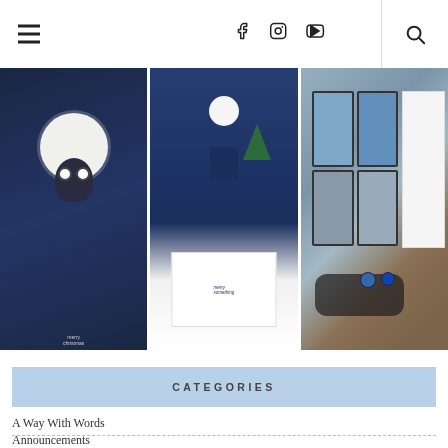Navigation bar with hamburger menu, social icons (Facebook, Instagram, YouTube), and search icon
[Figure (photo): Three panel image strip: left panel shows a handmade card with a cute owl on a dark blue starry background, middle panel shows another card with a cartoon owl figure and a Christmas tree on dark blue background with 'Merry Something' text, right panel shows ink pads (distress ink) and crafting tools on a wooden surface]
CATEGORIES
A Way With Words
Announcements
Art Journal Collection
Beautiful Blooms
Beautiful Blooms